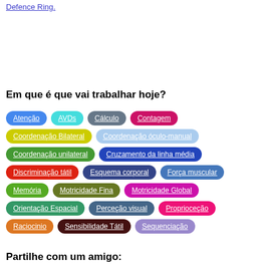Defence Ring.
Em que é que vai trabalhar hoje?
Atenção
AVDs
Cálculo
Contagem
Coordenação Bilateral
Coordenação óculo-manual
Coordenação unilateral
Cruzamento da linha média
Discriminação tátil
Esquema corporal
Força muscular
Memória
Motricidade Fina
Motricidade Global
Orientação Espacial
Perceção visual
Proprioceção
Raciocinio
Sensibilidade Tátil
Sequenciação
Partilhe com um amigo: